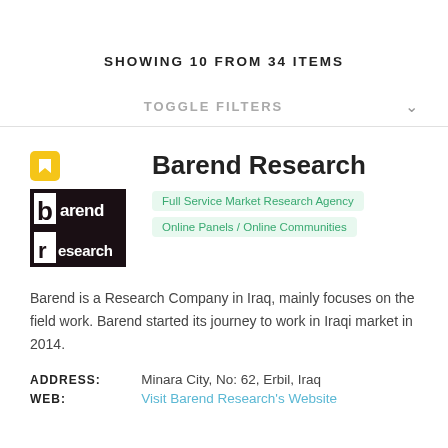SHOWING 10 FROM 34 ITEMS
TOGGLE FILTERS
Barend Research
Full Service Market Research Agency
Online Panels / Online Communities
Barend is a Research Company in Iraq, mainly focuses on the field work. Barend started its journey to work in Iraqi market in 2014.
ADDRESS: Minara City, No: 62, Erbil, Iraq
WEB: Visit Barend Research's Website